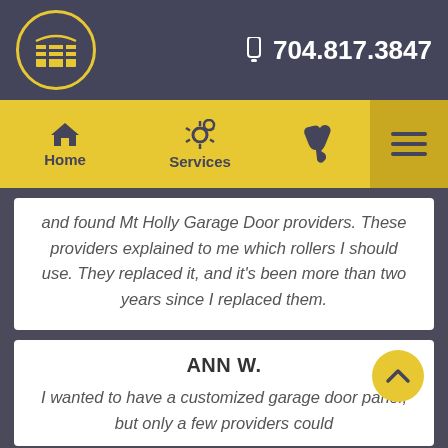704.817.3847
[Figure (logo): Garage door company logo — garage door icon inside a yellow-bordered circle on dark background]
Home
Services
and found Mt Holly Garage Door providers. These providers explained to me which rollers I should use. They replaced it, and it's been more than two years since I replaced them.
ANN W.
I wanted to have a customized garage door panel, but only a few providers could